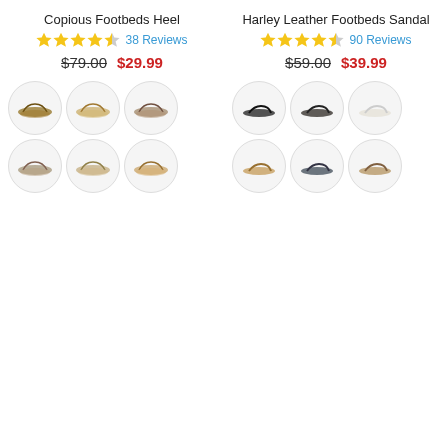Copious Footbeds Heel
★★★★½  38 Reviews
$79.00  $29.99
[Figure (photo): 6 circular thumbnail images of Copious Footbeds Heel sandals in various colors]
Harley Leather Footbeds Sandal
★★★★½  90 Reviews
$59.00  $39.99
[Figure (photo): 6 circular thumbnail images of Harley Leather Footbeds Sandal in various colors]